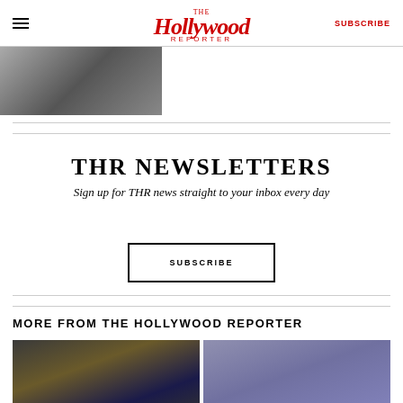The Hollywood Reporter — SUBSCRIBE
[Figure (photo): Black and white photo strip at top left]
THR NEWSLETTERS
Sign up for THR news straight to your inbox every day
SUBSCRIBE
MORE FROM THE HOLLYWOOD REPORTER
[Figure (photo): Photo of people at a red carpet event with CATV Awards signage]
[Figure (photo): Portrait photo of a man with dreadlocks against purple background]